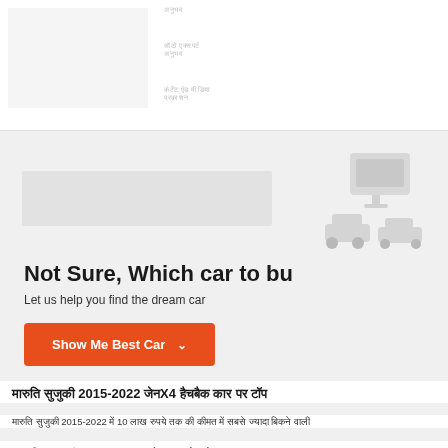अनुभव
ऑटो एक्सपर्ट
अनुभव
कंटेंट एंड मीडिया
प्रकाशन
[Figure (infographic): Banner with car finder widget: 'Not Sure, Which car to bu / Let us help you find the dream car' with orange 'Show Me Best Car' button and car icons in background]
मारुति सुजुकी 2015-2022 जेनX4 हैचबैक कार पर टॉप
मारुति सुजुकी 2015-2022 में 10 लाख रुपये तक की कीमत में सबसे ज्यादा बिकने वाली